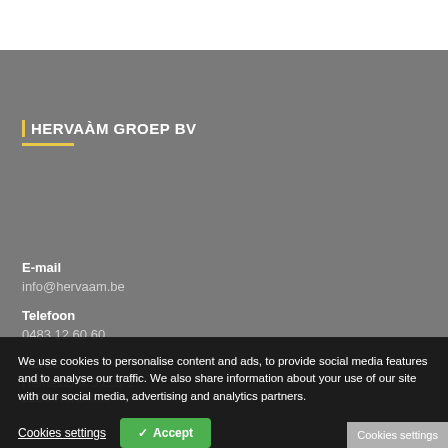HERVAÀM GROEP BV
E-mail
info@hervaam.be
Telefoon
0483 12 60 60
Adres
Hemeldonk 5 bus 2
2200 Herentals
We use cookies to personalise content and ads, to provide social media features and to analyse our traffic. We also share information about your use of our site with our social media, advertising and analytics partners.
Cookies settings
Accept
Cookies settings